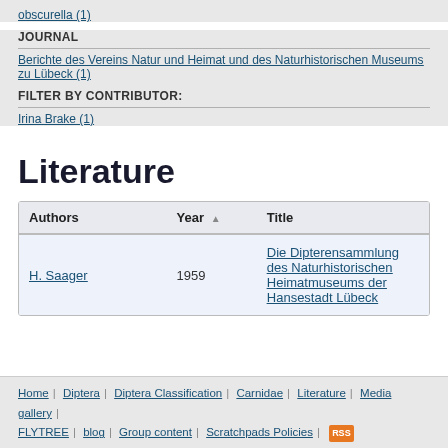obscurella (1)
JOURNAL
Berichte des Vereins Natur und Heimat und des Naturhistorischen Museums zu Lübeck (1)
FILTER BY CONTRIBUTOR:
Irina Brake (1)
Literature
| Authors | Year | Title |
| --- | --- | --- |
| H. Saager | 1959 | Die Dipterensammlung des Naturhistorischen Heimatmuseums der Hansestadt Lübeck |
Home | Diptera | Diptera Classification | Carnidae | Literature | Media gallery | FLYTREE | blog | Group content | Scratchpads Policies |